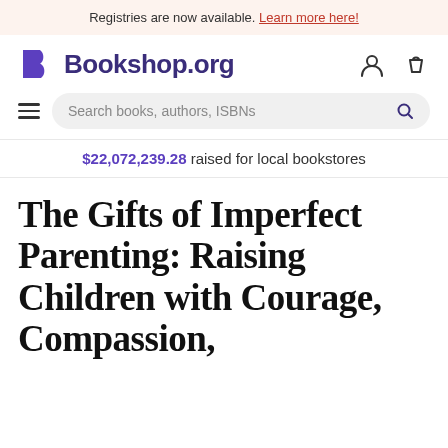Registries are now available. Learn more here!
Bookshop.org
Search books, authors, ISBNs
$22,072,239.28 raised for local bookstores
The Gifts of Imperfect Parenting: Raising Children with Courage, Compassion,